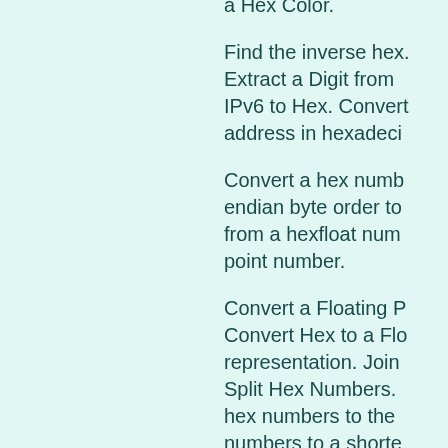a Hex Color.
Find the inverse hex. Extract a Digit from IPv6 to Hex. Convert address in hexadeci
Convert a hex numb endian byte order to from a hexfloat num point number.
Convert a Floating P Convert Hex to a Flo representation. Join Split Hex Numbers. hex numbers to the numbers to a shorte
Round Hex Number